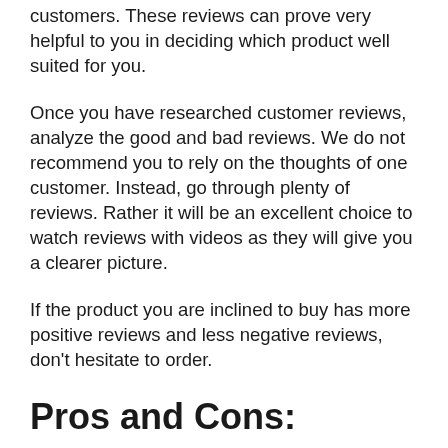customers. These reviews can prove very helpful to you in deciding which product well suited for you.
Once you have researched customer reviews, analyze the good and bad reviews. We do not recommend you to rely on the thoughts of one customer. Instead, go through plenty of reviews. Rather it will be an excellent choice to watch reviews with videos as they will give you a clearer picture.
If the product you are inclined to buy has more positive reviews and less negative reviews, don't hesitate to order.
Pros and Cons: